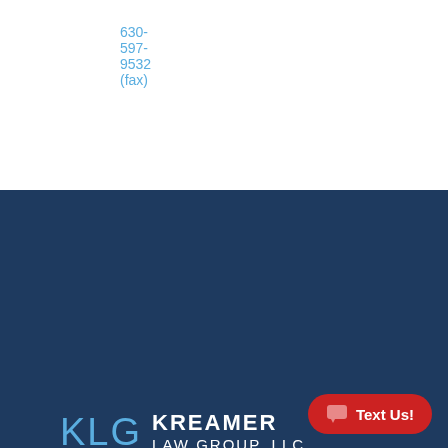630-597-9532 (fax)
[Figure (logo): KLG Kreamer Law Group, LLC logo with blue KLG letters and white text on dark navy background]
Copyright © 2022 Kreamer Law Group, LLC
Terms of Use · Privacy Policy · Anti-spam
[Figure (illustration): Facebook and Instagram social media icons in blue]
SITE POWERED BY
LawLytics™
[Figure (other): Red oval Text Us! button with chat bubble icon]